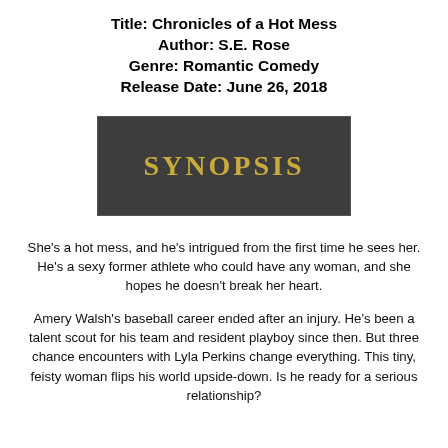Title: Chronicles of a Hot Mess
Author: S.E. Rose
Genre: Romantic Comedy
Release Date: June 26, 2018
[Figure (other): Dark gray rectangular banner with gold bold serif text reading SYNOPSIS]
She’s a hot mess, and he’s intrigued from the first time he sees her. He’s a sexy former athlete who could have any woman, and she hopes he doesn’t break her heart.
Amery Walsh’s baseball career ended after an injury. He’s been a talent scout for his team and resident playboy since then. But three chance encounters with Lyla Perkins change everything. This tiny, feisty woman flips his world upside-down. Is he ready for a serious relationship?